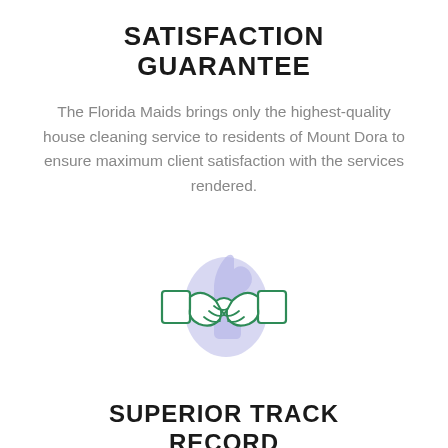SATISFACTION GUARANTEE
The Florida Maids brings only the highest-quality house cleaning service to residents of Mount Dora to ensure maximum client satisfaction with the services rendered.
[Figure (illustration): Handshake icon with a thumbs-up silhouette in light purple/lavender behind two green-outlined hands shaking, with white cuffs/sleeves.]
SUPERIOR TRACK RECORD